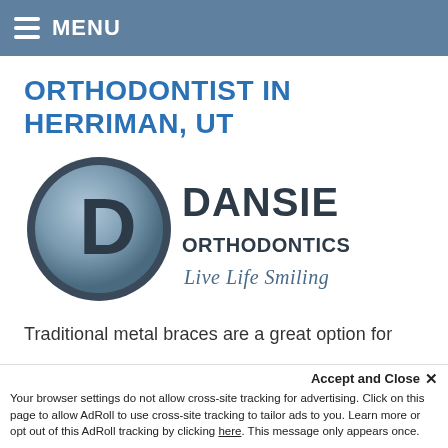MENU
ORTHODONTIST IN HERRIMAN, UT
[Figure (logo): Dansie Orthodontics logo: circular D emblem in steel blue and grey, with bold text DANSIE ORTHODONTICS and cursive tagline Live Life Smiling]
Traditional metal braces are a great option for most patients. However, they can be hard to keep clean. Getting between the brackets an
Accept and Close ×
Your browser settings do not allow cross-site tracking for advertising. Click on this page to allow AdRoll to use cross-site tracking to tailor ads to you. Learn more or opt out of this AdRoll tracking by clicking here. This message only appears once.